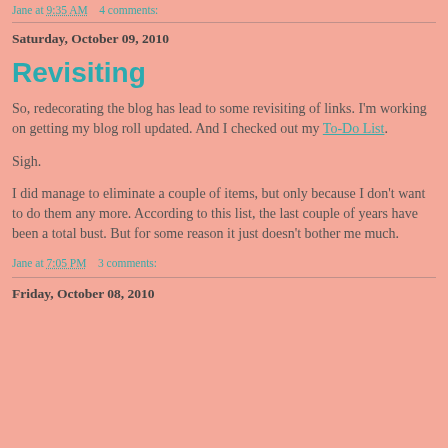Jane at 9:35 AM    4 comments:
Saturday, October 09, 2010
Revisiting
So, redecorating the blog has lead to some revisiting of links. I'm working on getting my blog roll updated. And I checked out my To-Do List.
Sigh.
I did manage to eliminate a couple of items, but only because I don't want to do them any more. According to this list, the last couple of years have been a total bust. But for some reason it just doesn't bother me much.
Jane at 7:05 PM    3 comments:
Friday, October 08, 2010